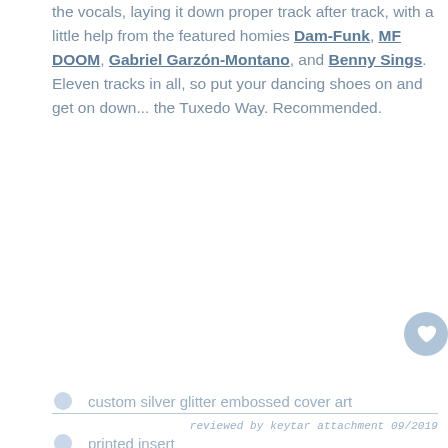the vocals, laying it down proper track after track, with a little help from the featured homies Dam-Funk, MF DOOM, Gabriel Garzón-Montano, and Benny Sings. Eleven tracks in all, so put your dancing shoes on and get on down... the Tuxedo Way. Recommended.
custom silver glitter embossed cover art
printed insert
music label: Funk On Sight 2019
reviewed by keytar attachment 09/2019